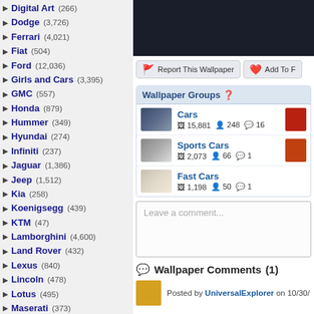Digital Art (266)
Dodge (3,726)
Ferrari (4,021)
Fiat (504)
Ford (12,036)
Girls and Cars (3,395)
GMC (557)
Honda (879)
Hummer (349)
Hyundai (274)
Infiniti (237)
Jaguar (1,386)
Jeep (1,512)
Kia (258)
Koenigsegg (439)
KTM (47)
Lamborghini (4,600)
Land Rover (432)
Lexus (840)
Lincoln (478)
Lotus (495)
Maserati (373)
Mazda (552)
McLaren (755)
Mercedes (2,964)
Mini Cooper (332)
Mitsubishi (517)
Motorcycles (Link)
Nissan (1,497)
Oldsmobile (492)
[Figure (screenshot): Dark car wallpaper image]
Report This Wallpaper | Add To F...
Wallpaper Groups
Cars - 15,881 images, 248 members, 16 comments
Sports Cars - 2,073 images, 66 members, 1 comment
Fast Cars - 1,198 images, 50 members, 1 comment
Leave a comment...
Wallpaper Comments (1)
Posted by UniversalExplorer on 10/30/...